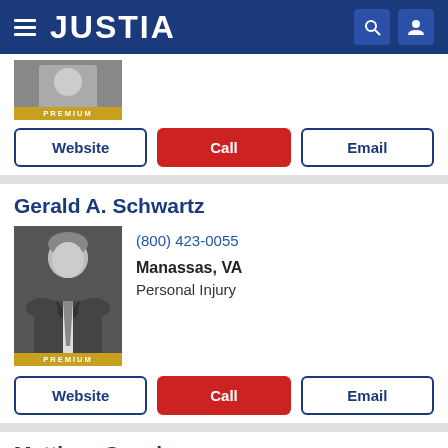JUSTIA
[Figure (photo): Partial lawyer profile photo with PREMIUM badge]
Website | Call | Email
Gerald A. Schwartz
[Figure (photo): Gerald A. Schwartz lawyer headshot in black and white suit with PREMIUM badge]
(800) 423-0055
Manassas, VA
Personal Injury
Website | Call | Email
Matthew Crowley
[Figure (photo): Matthew Crowley lawyer headshot with glasses]
(703) 337-3773
Fairfax, VA